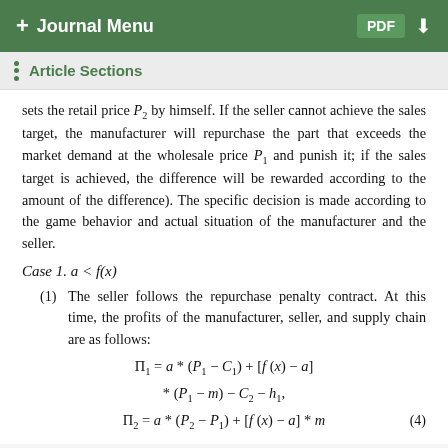+ Journal Menu   PDF ↓
Article Sections
sets the retail price P₂ by himself. If the seller cannot achieve the sales target, the manufacturer will repurchase the part that exceeds the market demand at the wholesale price P₁ and punish it; if the sales target is achieved, the difference will be rewarded according to the amount of the difference). The specific decision is made according to the game behavior and actual situation of the manufacturer and the seller.
Case 1. a < f(x)
(1) The seller follows the repurchase penalty contract. At this time, the profits of the manufacturer, seller, and supply chain are as follows: